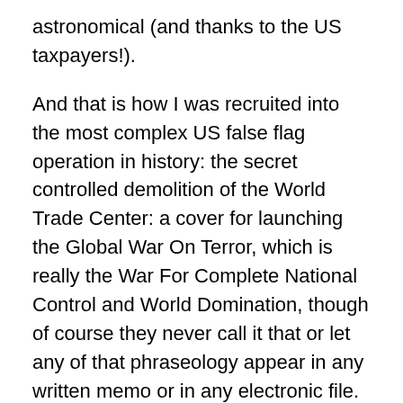astronomical (and thanks to the US taxpayers!).
And that is how I was recruited into the most complex US false flag operation in history: the secret controlled demolition of the World Trade Center: a cover for launching the Global War On Terror, which is really the War For Complete National Control and World Domination, though of course they never call it that or let any of that phraseology appear in any written memo or in any electronic file. Those of us who already had long histories of working deeply in dark government programs all knew the drill about “security.”
By the way, being drunk really messes up the readings of their polygraph tests on you, which is fun. But then they just keep you in the tank until you sober up, and you have to take it over and over again until they’re satisfied. Dreary.